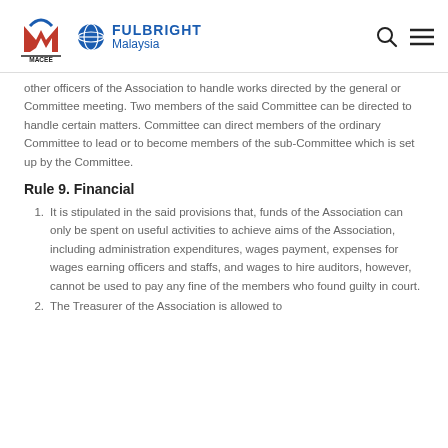MACEE Fulbright Malaysia
other officers of the Association to handle works directed by the general or Committee meeting. Two members of the said Committee can be directed to handle certain matters. Committee can direct members of the ordinary Committee to lead or to become members of the sub-Committee which is set up by the Committee.
Rule 9. Financial
1. It is stipulated in the said provisions that, funds of the Association can only be spent on useful activities to achieve aims of the Association, including administration expenditures, wages payment, expenses for wages earning officers and staffs, and wages to hire auditors, however, cannot be used to pay any fine of the members who found guilty in court.
2. The Treasurer of the Association is allowed to